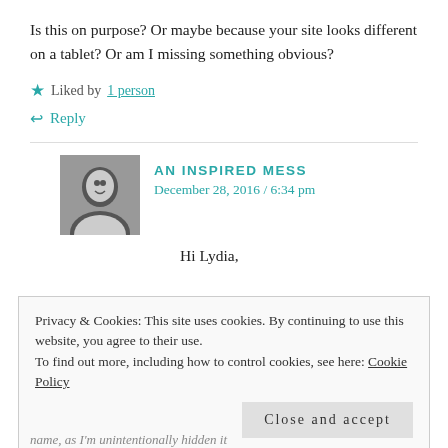Is this on purpose? Or maybe because your site looks different on a tablet? Or am I missing something obvious?
★ Liked by 1 person
↩ Reply
AN INSPIRED MESS
December 28, 2016 / 6:34 pm
Hi Lydia,
Privacy & Cookies: This site uses cookies. By continuing to use this website, you agree to their use.
To find out more, including how to control cookies, see here: Cookie Policy
Close and accept
name, as I'm unintentionally hidden it